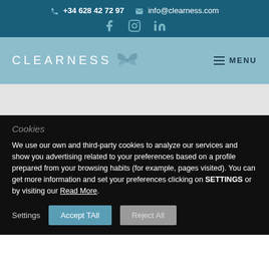+34 628 42 72 97  info@clearness.com
[Figure (logo): Clearness company logo with butterfly icon and text CLEARNESS, with MENU hamburger navigation]
Cookies
We use our own and third-party cookies to analyze our services and show you advertising related to your preferences based on a profile prepared from your browsing habits (for example, pages visited). You can get more information and set your preferences clicking on SETTINGS or by visiting our Read More.
Settings  Accept TAll  Reject All